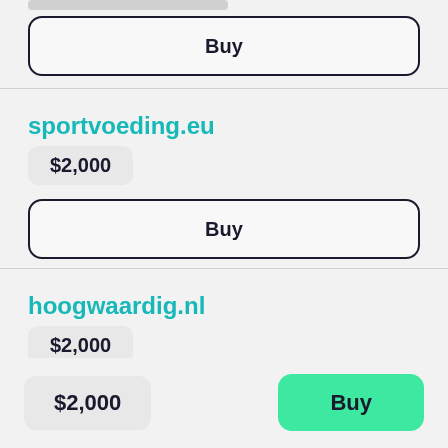[Figure (screenshot): Partial grey bar at top of page]
Buy
sportvoeding.eu
$2,000
Buy
hoogwaardig.nl
$2,000
$2,000
Buy